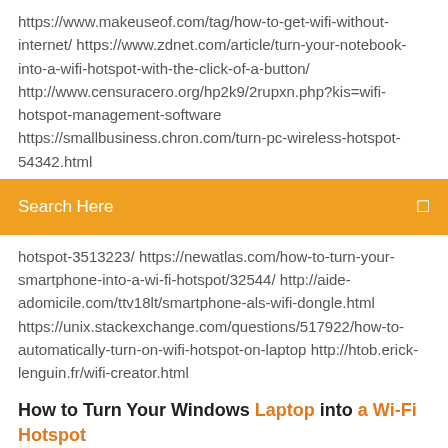https://www.makeuseof.com/tag/how-to-get-wifi-without-internet/ https://www.zdnet.com/article/turn-your-notebook-into-a-wifi-hotspot-with-the-click-of-a-button/ http://www.censuracero.org/hp2k9/2rupxn.php?kis=wifi-hotspot-management-software https://smallbusiness.chron.com/turn-pc-wireless-hotspot-54342.html
[Figure (screenshot): Orange search bar with 'Search Here' text and a search icon on the right]
hotspot-3513223/ https://newatlas.com/how-to-turn-your-smartphone-into-a-wi-fi-hotspot/32544/ http://aide-adomicile.com/ttv18lt/smartphone-als-wifi-dongle.html https://unix.stackexchange.com/questions/517922/how-to-automatically-turn-on-wifi-hotspot-on-laptop http://htob.erick-lenguin.fr/wifi-creator.html
How to Turn Your Windows Laptop into a Wi-Fi Hotspot
By sharing the Internet connection of your 3G modem over Wi-